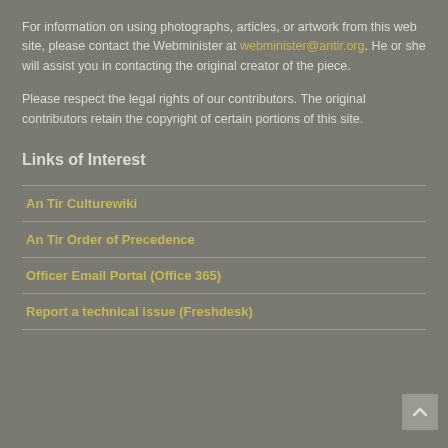For information on using photographs, articles, or artwork from this web site, please contact the Webminister at webminister@antir.org. He or she will assist you in contacting the original creator of the piece.
Please respect the legal rights of our contributors. The original contributors retain the copyright of certain portions of this site.
Links of Interest
An Tir Culturewiki
An Tir Order of Precedence
Officer Email Portal (Office 365)
Report a technical issue (Freshdesk)